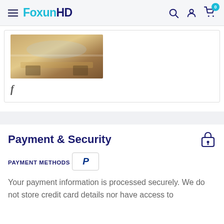FoxunHD
[Figure (photo): Product photo showing a glass top table with wood base, partially visible]
f
Payment & Security
PAYMENT METHODS
[Figure (logo): PayPal logo button]
Your payment information is processed securely. We do not store credit card details nor have access to